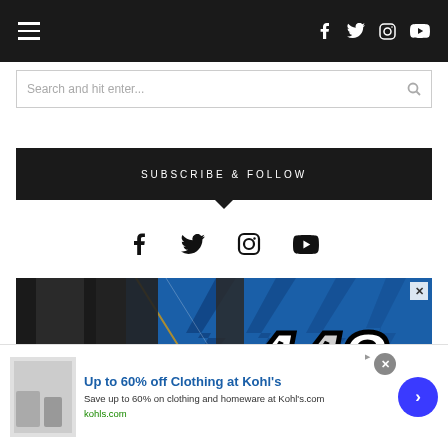Navigation bar with hamburger menu and social icons (Facebook, Twitter, Instagram, YouTube)
Search and hit enter...
SUBSCRIBE & FOLLOW
[Figure (infographic): Social media icons: Facebook, Twitter, Instagram, YouTube]
[Figure (photo): Racing-themed graphic with number 442 in stylized font on blue/dark background]
infolinks
[Figure (infographic): Advertisement banner: Up to 60% off Clothing at Kohl's. Save up to 60% on clothing and homeware at Kohl's.com. kohls.com]